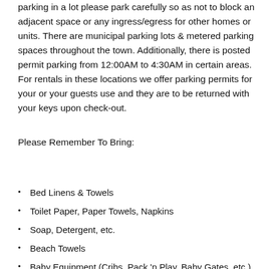parking in a lot please park carefully so as not to block an adjacent space or any ingress/egress for other homes or units. There are municipal parking lots & metered parking spaces throughout the town. Additionally, there is posted permit parking from 12:00AM to 4:30AM in certain areas. For rentals in these locations we offer parking permits for your or your guests use and they are to be returned with your keys upon check-out.
Please Remember To Bring:
Bed Linens & Towels
Toilet Paper, Paper Towels, Napkins
Soap, Detergent, etc.
Beach Towels
Baby Equipment (Cribs, Pack 'n Play, Baby Gates, etc.)